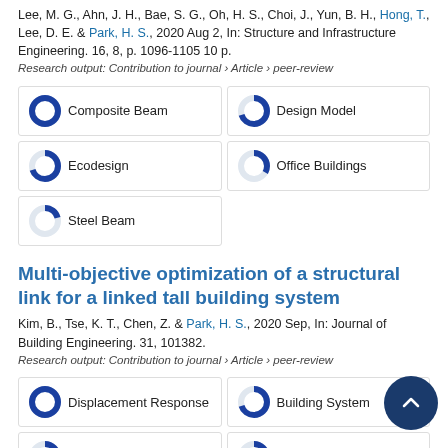Lee, M. G., Ahn, J. H., Bae, S. G., Oh, H. S., Choi, J., Yun, B. H., Hong, T., Lee, D. E. & Park, H. S., 2020 Aug 2, In: Structure and Infrastructure Engineering. 16, 8, p. 1096-1105 10 p.
Research output: Contribution to journal › Article › peer-review
[Figure (donut-chart): 100% filled donut chart blue]
[Figure (donut-chart): ~70% filled donut chart blue]
[Figure (donut-chart): ~70% filled donut chart blue]
[Figure (donut-chart): ~33% filled donut chart blue]
[Figure (donut-chart): ~20% filled donut chart blue]
Multi-objective optimization of a structural link for a linked tall building system
Kim, B., Tse, K. T., Chen, Z. & Park, H. S., 2020 Sep, In: Journal of Building Engineering. 31, 101382.
Research output: Contribution to journal › Article › peer-review
[Figure (donut-chart): 100% filled donut chart blue]
[Figure (donut-chart): ~70% filled donut chart blue]
[Figure (donut-chart): ~70% filled donut chart blue]
[Figure (donut-chart): ~33% filled donut chart blue]
[Figure (donut-chart): ~25% filled donut chart blue]